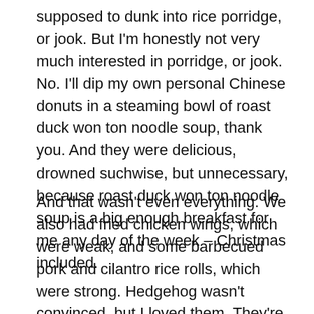supposed to dunk into rice porridge, or jook. But I'm honestly not very much interested in porridge, or jook. No. I'll dip my own personal Chinese donuts in a steaming bowl of roast duck won ton noodle soup, thank you. And they were delicious, drowned suchwise, but unnecessary, because roast duck won ton noodle soup is a big enough breakfast for me any day of the week – Christmas included.
And that wasn't even everything. We also had fried chicken wings, which were weak, and some barbecued pork and cilantro rice rolls, which were strong. Hedgehog wasn't convinced, but I loved them. They're chopped up pieces of pork with tons and tons of cilantro, wrapped in a gooey rice dough and drenched with something